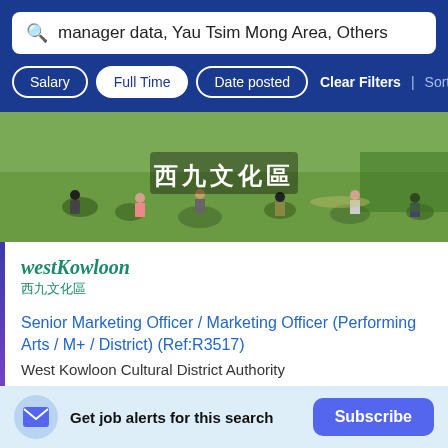manager data, Yau Tsim Mong Area, Others
Salary | Full Time | Date posted | Clear Filters | Sort By Rele...
[Figure (photo): Outdoor park scene with people sitting on grass, with Chinese characters 西九文化區 overlaid]
westKowloon 西九文化區
Senior Marketing Officer / Marketing Officer (Performing Arts / M+ / District) (Ref:R3517)
West Kowloon Cultural District Authority
Tsim Sha Tsui
Get job alerts for this search